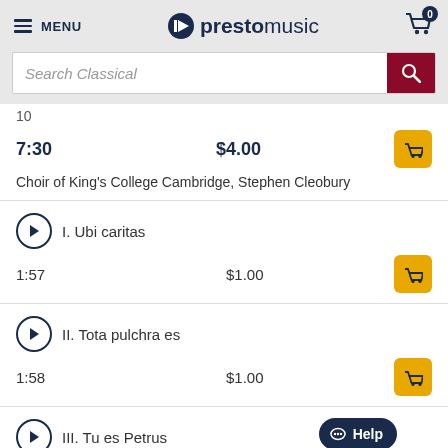MENU | prestomusic | Cart: 0
Search Classical
10
7:30   $4.00
Choir of King's College Cambridge, Stephen Cleobury
I. Ubi caritas
1:57   $1.00
II. Tota pulchra es
1:58   $1.00
III. Tu es Petrus
0:54   $1.00
IV. Tantum ergo